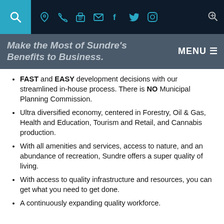Navigation bar with search, location, phone, fax, email, Facebook, Twitter, Instagram icons and MENU button
Make the Most of Sundre's Benefits to Business.
FAST and EASY development decisions with our streamlined in-house process. There is NO Municipal Planning Commission.
Ultra diversified economy, centered in Forestry, Oil & Gas, Health and Education, Tourism and Retail, and Cannabis production.
With all amenities and services, access to nature, and an abundance of recreation, Sundre offers a super quality of living.
With access to quality infrastructure and resources, you can get what you need to get done.
A continuously expanding quality workforce.